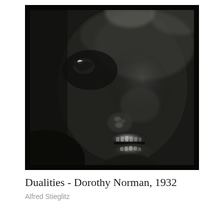[Figure (photo): Close-up black and white photograph of a face in dramatic low-key lighting. The image shows a dark, moody portrait with visible eye with highlight reflection, nose, and a slightly open smiling mouth showing teeth. The photograph has deep shadows and high contrast typical of 1930s art photography. There is a thin light border around the image.]
Dualities - Dorothy Norman, 1932
Alfred Stieglitz